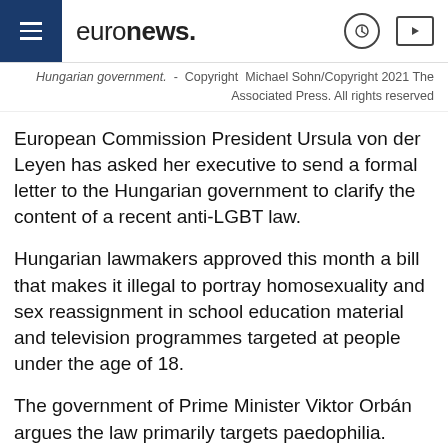euronews.
Hungarian government. - Copyright Michael Sohn/Copyright 2021 The Associated Press. All rights reserved
European Commission President Ursula von der Leyen has asked her executive to send a formal letter to the Hungarian government to clarify the content of a recent anti-LGBT law.
Hungarian lawmakers approved this month a bill that makes it illegal to portray homosexuality and sex reassignment in school education material and television programmes targeted at people under the age of 18.
The government of Prime Minister Viktor Orbán argues the law primarily targets paedophilia.
The conflation between the LGBT community and